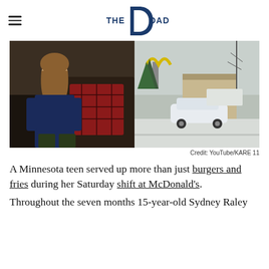THE DAD
[Figure (photo): Two-panel composite photo: left panel shows a teenage girl sitting on a dark couch with red plaid pillows, wearing a navy blue long-sleeve shirt; right panel shows a McDonald's drive-through exterior in winter with a white Tesla car in the parking lot and snow on the ground.]
Credit: YouTube/KARE 11
A Minnesota teen served up more than just burgers and fries during her Saturday shift at McDonald's.
Throughout the seven months 15-year-old Sydney Raley